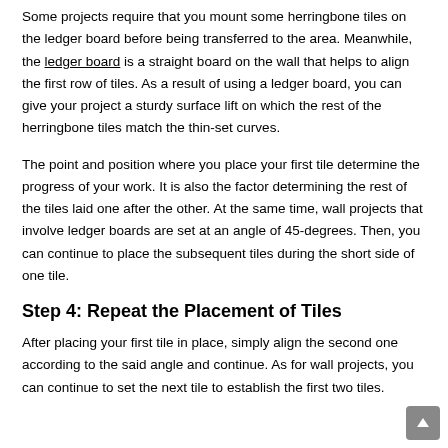Some projects require that you mount some herringbone tiles on the ledger board before being transferred to the area. Meanwhile, the ledger board is a straight board on the wall that helps to align the first row of tiles. As a result of using a ledger board, you can give your project a sturdy surface lift on which the rest of the herringbone tiles match the thin-set curves.
The point and position where you place your first tile determine the progress of your work. It is also the factor determining the rest of the tiles laid one after the other. At the same time, wall projects that involve ledger boards are set at an angle of 45-degrees. Then, you can continue to place the subsequent tiles during the short side of one tile.
Step 4: Repeat the Placement of Tiles
After placing your first tile in place, simply align the second one according to the said angle and continue. As for wall projects, you can continue to set the next tile to establish the first two tiles.